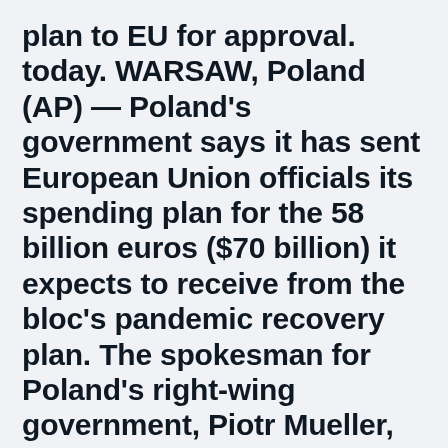plan to EU for approval. today. WARSAW, Poland (AP) — Poland's government says it has sent European Union officials its spending plan for the 58 billion euros ($70 billion) it expects to receive from the bloc's pandemic recovery plan. The spokesman for Poland's right-wing government, Piotr Mueller, said the
Slovakia vs Poland, 14 June, 18:00 (Krestovsky Stadium, St. Petersburg) 1 hour ago · UEFA Euro 2020 Live Updates and Football Score: Scotland 0-0 Czech Republic and Poland-Slovakia and Spain-Sweden face-